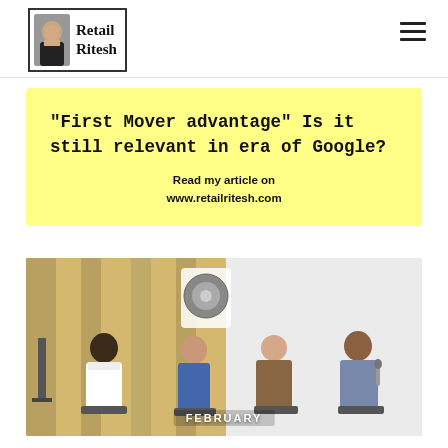Retail Ritesh
“First Mover advantage” Is it still relevant in era of Google?
Read my article on www.retailritesh.com
[Figure (photo): Panel discussion photo with four people seated, label FEBRUARY at bottom]
FEBRUARY